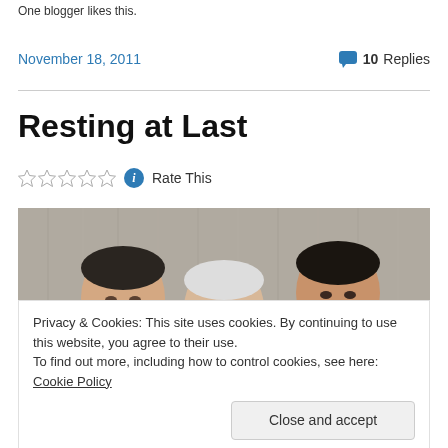One blogger likes this.
November 18, 2011
10 Replies
Resting at Last
Rate This
[Figure (photo): Three men facing camera against a gray wood-panel background. Two younger men on either side, an older man in center.]
Privacy & Cookies: This site uses cookies. By continuing to use this website, you agree to their use.
To find out more, including how to control cookies, see here: Cookie Policy
Close and accept